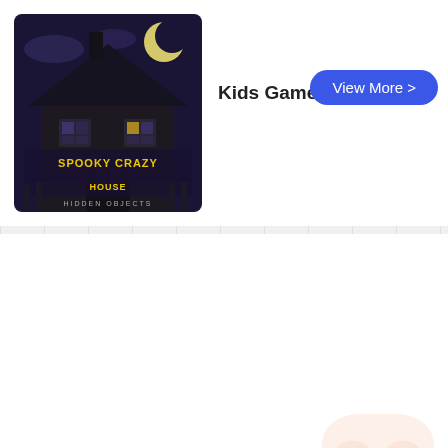[Figure (screenshot): Spooky Crazy House Hidden Objects game thumbnail — dark haunted house with yellow horror-style text]
Kids Games
View More >
Car Games
View More >
[Figure (illustration): Orange game controller icon with plus sign]
View More Tags